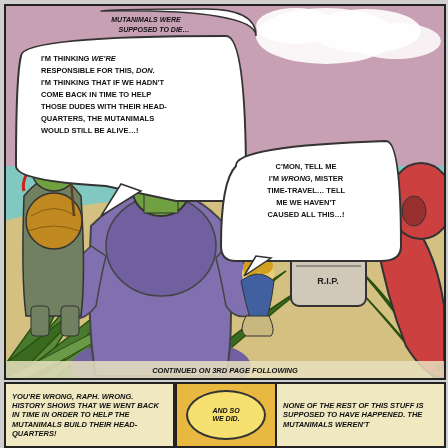[Figure (illustration): Comic book panel showing cartoon turtles on a beach scene. Two mutant turtle characters in foreground looking at a kneeling girl near a gravestone marked 'HERE LIE THE MUTANIM... R.I.P.' with speech bubbles. Pink sky with clouds and ocean in background. Large tropical plant leaves in foreground. Page number 15 in corner. 'CONTINUED ON 3RD PAGE FOLLOWING' text at bottom.]
[Figure (illustration): Comic book panel at bottom with three sections: left text box with speech text 'YOU'RE WRONG, RAPH. WRONG. HISTORY SHOWS THAT WE WENT BACK IN TIME IN ORDER TO HELP THE MUTANIMALS BUILD THEIR HEAD-QUARTERS!', middle yellow oval speech bubble with 'AND SO WE DID.', right text box with 'NONE OF THE REST OF THIS STUFF IS SUPPOSED TO HAVE HAPPENED. THE MUTANIMALS WEREN'T...']